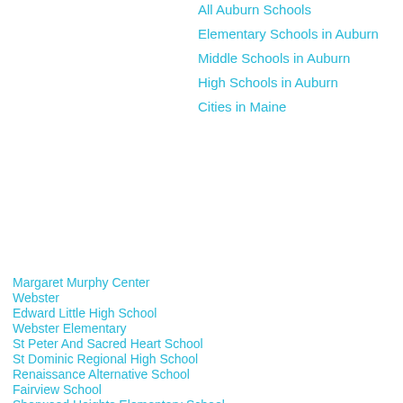All Auburn Schools
Elementary Schools in Auburn
Middle Schools in Auburn
High Schools in Auburn
Cities in Maine
Margaret Murphy Center  0.5
Webster  0.5
Edward Little High School  0.9
Webster Elementary  1
St Peter And Sacred Heart School  1.2
St Dominic Regional High School  1.3
Renaissance Alternative School  1.5
Fairview School  1.7
Sherwood Heights Elementary School  1.9
Retc/sos  2